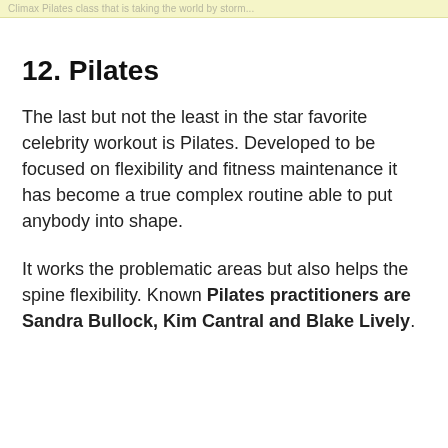Climax Pilates class that is taking the world by storm...
12. Pilates
The last but not the least in the star favorite celebrity workout is Pilates. Developed to be focused on flexibility and fitness maintenance it has become a true complex routine able to put anybody into shape.
It works the problematic areas but also helps the spine flexibility. Known Pilates practitioners are Sandra Bullock, Kim Cantral and Blake Lively.